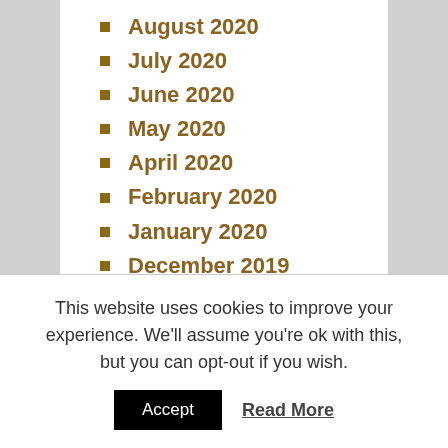August 2020
July 2020
June 2020
May 2020
April 2020
February 2020
January 2020
December 2019
November 2019
September 2019
August 2019
June 2019
May 2019
April 2019
March 2019
February 2019
This website uses cookies to improve your experience. We'll assume you're ok with this, but you can opt-out if you wish.
Accept | Read More